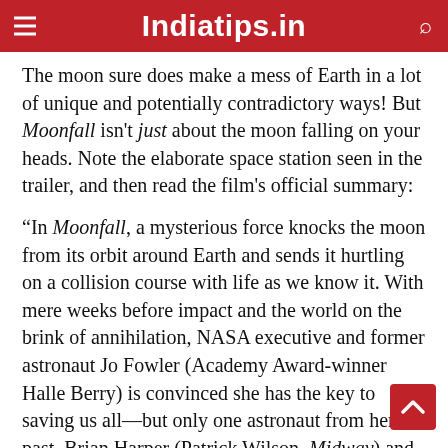Indiatips.in
The moon sure does make a mess of Earth in a lot of unique and potentially contradictory ways! But Moonfall isn't just about the moon falling on your heads. Note the elaborate space station seen in the trailer, and then read the film's official summary:
“In Moonfall, a mysterious force knocks the moon from its orbit around Earth and sends it hurtling on a collision course with life as we know it. With mere weeks before impact and the world on the brink of annihilation, NASA executive and former astronaut Jo Fowler (Academy Award-winner Halle Berry) is convinced she has the key to saving us all—but only one astronaut from her past, Brian Harper (Patrick Wilson, Midway) and conspiracy theorist K.C. Houseman (John Bradley, Game of Thrones) beli... her. These unlikely heroes will mount an impossible